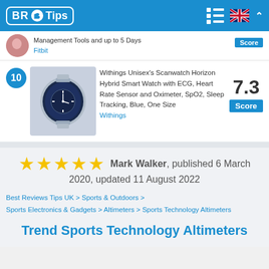BR Tips
Management Tools and up to 5 Days Fitbit Score
10 Withings Unisex's Scanwatch Horizon Hybrid Smart Watch with ECG, Heart Rate Sensor and Oximeter, SpO2, Sleep Tracking, Blue, One Size Withings 7.3 Score
★★★★★ Mark Walker, published 6 March 2020, updated 11 August 2022
Best Reviews Tips UK > Sports & Outdoors > Sports Electronics & Gadgets > Altimeters > Sports Technology Altimeters
Trend Sports Technology Altimeters